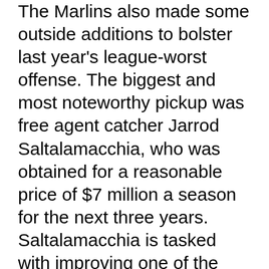The Marlins also made some outside additions to bolster last year's league-worst offense. The biggest and most noteworthy pickup was free agent catcher Jarrod Saltalamacchia, who was obtained for a reasonable price of $7 million a season for the next three years. Saltalamacchia is tasked with improving one of the worst offensive catching units in baseball last year (.194/.249/.280). Last year, he made fractional gains on his strikeouts (29.6 percent, down from 30.9 percent over the previous two years) and walks (9.1 percent, up from 7.4 percent) that made his game at the plate more consistent. The Marlins are also banking on more of the same power he provided last year, even if the hits drop a bit due to his .372 BABIP regressing. Anything would be better with the bat than another year of Jeff Mathis, and Saltalamacchia is also known for his solid game-calling